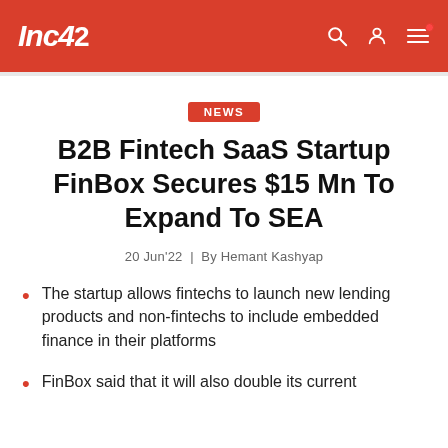Inc42
NEWS
B2B Fintech SaaS Startup FinBox Secures $15 Mn To Expand To SEA
20 Jun'22 | By Hemant Kashyap
The startup allows fintechs to launch new lending products and non-fintechs to include embedded finance in their platforms
FinBox said that it will also double its current